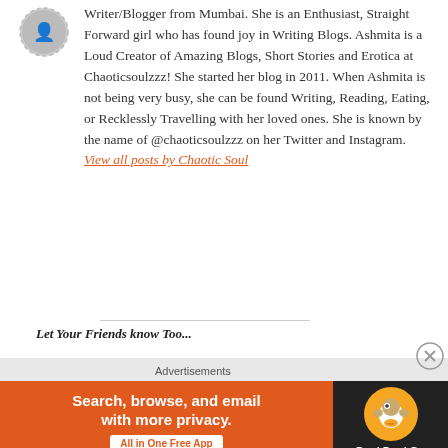[Figure (photo): Circular avatar/profile photo with dashed border, partially visible at top left]
Writer/Blogger from Mumbai. She is an Enthusiast, Straight Forward girl who has found joy in Writing Blogs. Ashmita is a Loud Creator of Amazing Blogs, Short Stories and Erotica at Chaoticsoulzzz! She started her blog in 2011. When Ashmita is not being very busy, she can be found Writing, Reading, Eating, or Recklessly Travelling with her loved ones. She is known by the name of @chaoticsoulzzz on her Twitter and Instagram. View all posts by Chaotic Soul
Let Your Friends know Too...
Advertisements
[Figure (screenshot): DuckDuckGo advertisement banner: orange left section with text 'Search, browse, and email with more privacy. All in One Free App' and dark right section with DuckDuckGo duck logo]